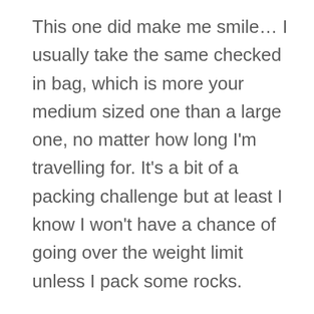This one did make me smile… I usually take the same checked in bag, which is more your medium sized one than a large one, no matter how long I'm travelling for. It's a bit of a packing challenge but at least I know I won't have a chance of going over the weight limit unless I pack some rocks.
But I've decided to give myself a packing break on my next big trip and am breaking out the big Samsonite. It's mostly used for clothes storage these days (for the good old